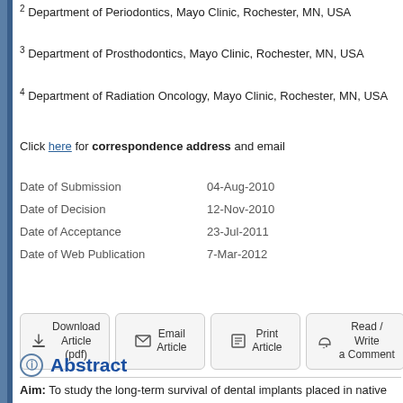1 Private Practitioner, Seattle WA, USA
2 Department of Periodontics, Mayo Clinic, Rochester, MN, USA
3 Department of Prosthodontics, Mayo Clinic, Rochester, MN, USA
4 Department of Radiation Oncology, Mayo Clinic, Rochester, MN, USA
Click here for correspondence address and email
|  |  |
| --- | --- |
| Date of Submission | 04-Aug-2010 |
| Date of Decision | 12-Nov-2010 |
| Date of Acceptance | 23-Jul-2011 |
| Date of Web Publication | 7-Mar-2012 |
[Figure (other): Action buttons: Download Article (pdf), Email Article, Print Article, Read/Write a Comment]
Abstract
Aim: To study the long-term survival of dental implants placed in native radiation for head and neck cancer.
Materials and Methods: A retrospective chart review was conducted treatment for head and neck cancer between May 1, 1987 and July 1, 200